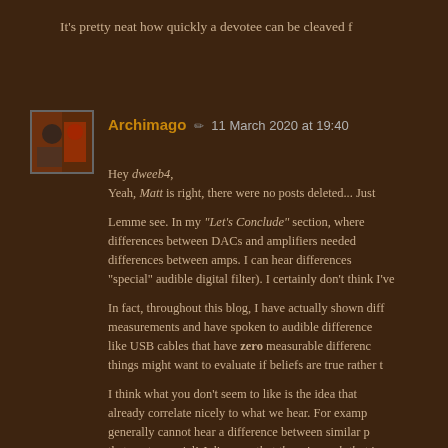It's pretty neat how quickly a devotee can be cleaved f
Archimago ✏ 11 March 2020 at 19:40

Hey dweeb4,
Yeah, Matt is right, there were no posts deleted... Just

Lemme see. In my "Let's Conclude" section, where differences between DACs and amplifiers needed differences between amps. I can hear differences "special" audible digital filter). I certainly don't think I've

In fact, throughout this blog, I have actually shown diff measurements and have spoken to audible difference like USB cables that have zero measurable difference things might want to evaluate if beliefs are true rather t

I think what you don't seem to like is the idea that already correlate nicely to what we hear. For examp generally cannot hear a difference between similar p that controversial! I disagree that there is much that i Some devices like speakers are more difficult to me doesn't mean measurements would not have shown a